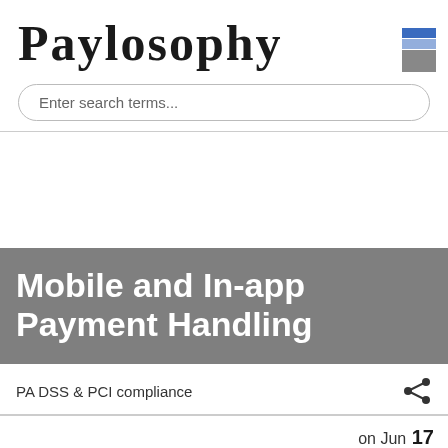Paylosophy
Enter search terms...
[Figure (other): White blank article image placeholder area]
Mobile and In-app Payment Handling
PA DSS & PCI compliance
on Jun 17